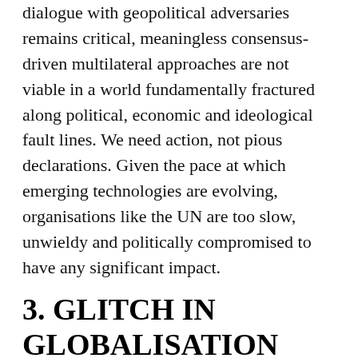dialogue with geopolitical adversaries remains critical, meaningless consensus-driven multilateral approaches are not viable in a world fundamentally fractured along political, economic and ideological fault lines. We need action, not pious declarations. Given the pace at which emerging technologies are evolving, organisations like the UN are too slow, unwieldy and politically compromised to have any significant impact.
3. GLITCH IN GLOBALISATION